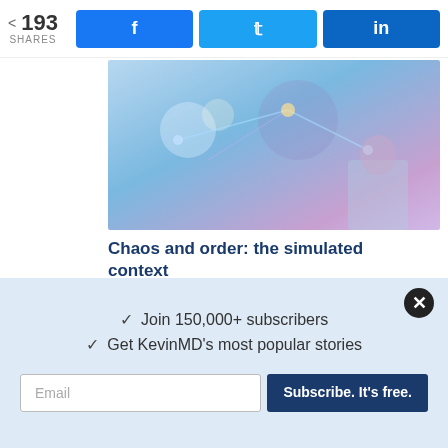193 SHARES | Facebook | Twitter | LinkedIn
[Figure (photo): Blue-toned medical/science image showing glowing neural or molecular structures with a person in lab coat]
Chaos and order: the simulated context
CARLO MAHFOUZ
[Figure (photo): Light blue medical image showing a tablet/phone device with a doctor or medical professional in scrubs]
✓  Join 150,000+ subscribers
✓  Get KevinMD's most popular stories
Email | Subscribe. It's free.